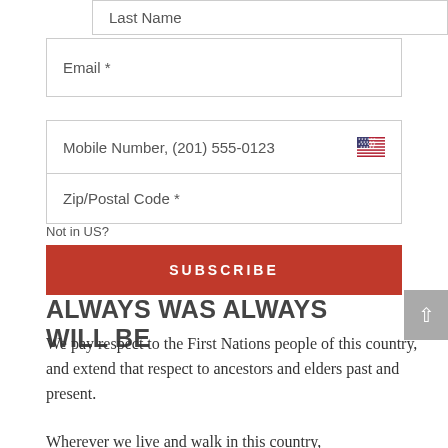Last Name
Email *
Mobile Number, (201) 555-0123
Zip/Postal Code *
Not in US?
SUBSCRIBE
ALWAYS WAS ALWAYS WILL BE
We pay respect to the First Nations people of this country, and extend that respect to ancestors and elders past and present.
Wherever we live and walk in this country,